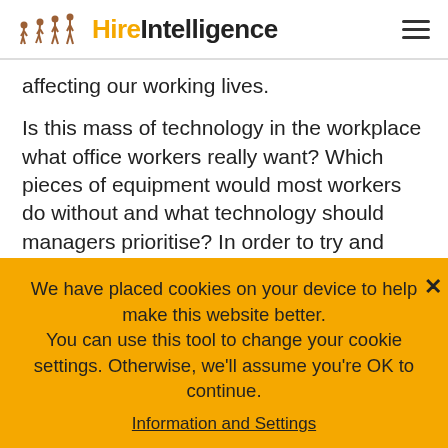HireIntelligence
affecting our working lives.
Is this mass of technology in the workplace what office workers really want? Which pieces of equipment would most workers do without and what technology should managers prioritise? In order to try and answer these questions, we asked 2000 office workers about the technology they use and whether it's fit for purpose.
We have placed cookies on your device to help make this website better.
You can use this tool to change your cookie settings. Otherwise, we'll assume you're OK to continue.
Information and Settings